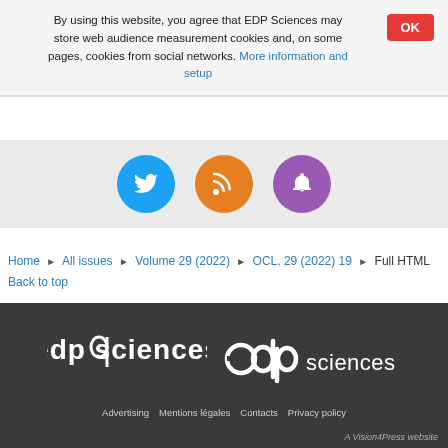By using this website, you agree that EDP Sciences may store web audience measurement cookies and, on some pages, cookies from social networks. More information and setup
[Figure (illustration): Three circular social media icons: Twitter (blue), RSS (orange), Notification bell (purple)]
Home ▶ All issues ▶ Volume 29 (2022) ▶ OCL, 29 (2022) 19 ▶ Full HTML
Back to top
[Figure (logo): EDP Sciences white logo on dark background]
Advertising   Mentions légales   Contacts   Privacy policy
A Vision4Press website